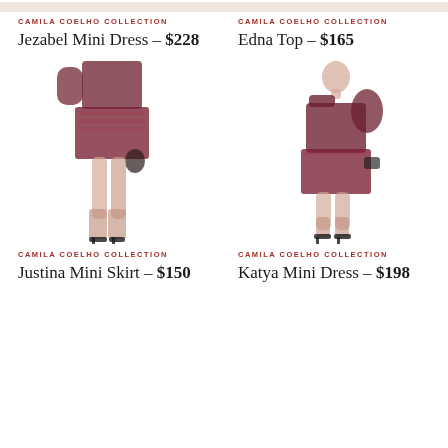[Figure (photo): Partial view of model wearing Jezabel Mini Dress, cropped at top]
CAMILA COELHO COLLECTION
Jezabel Mini Dress – $228
[Figure (photo): Partial view of model wearing Edna Top, cropped at top]
CAMILA COELHO COLLECTION
Edna Top – $165
[Figure (photo): Model wearing Justina Mini Skirt, burgundy velvet sequin mini skirt with matching top, holding small bag]
CAMILA COELHO COLLECTION
Justina Mini Skirt – $150
[Figure (photo): Model wearing Katya Mini Dress, one-shoulder burgundy velvet mini dress]
CAMILA COELHO COLLECTION
Katya Mini Dress – $198